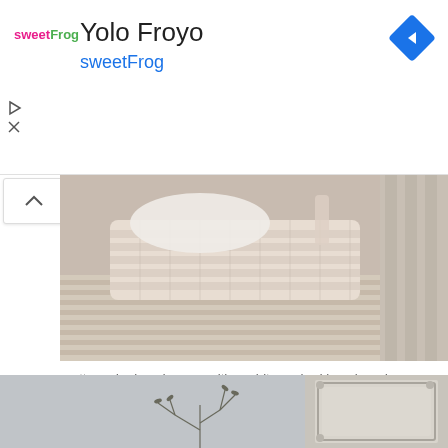[Figure (screenshot): SweetFrog Yolo Froyo advertisement banner with logo, title text, and navigation arrow icon]
[Figure (photo): Whitewashed wicker basket on a whitewashed bench with wooden elements - a pretty and relaxed farmhouse-style space]
a pretty and relaxed space with a whitewashed bench and a whitewashed basket, with potted blooms and bottles is a lovely idea
[Figure (photo): Decorative branch in a vase next to an ornate white-painted picture frame, against a gray wall]